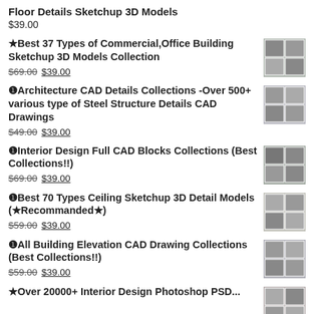Floor Details Sketchup 3D Models
$39.00
★Best 37 Types of Commercial,Office Building Sketchup 3D Models Collection
$69.00 $39.00
❶Architecture CAD Details Collections  -Over 500+ various type of Steel Structure Details CAD Drawings
$49.00 $39.00
❶Interior Design Full CAD Blocks Collections  (Best Collections!!)
$69.00 $39.00
❶Best 70 Types Ceiling Sketchup 3D Detail Models (★Recommanded★)
$59.00 $39.00
❶All Building Elevation CAD Drawing Collections (Best Collections!!)
$59.00 $39.00
★Over 20000+ Interior Design Photoshop PSD...